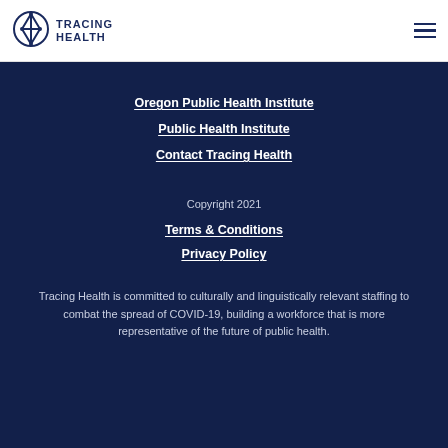[Figure (logo): Tracing Health logo with diamond/cross icon and text TRACING HEALTH]
Oregon Public Health Institute
Public Health Institute
Contact Tracing Health
Copyright 2021
Terms & Conditions
Privacy Policy
Tracing Health is committed to culturally and linguistically relevant staffing to combat the spread of COVID-19, building a workforce that is more representative of the future of public health.